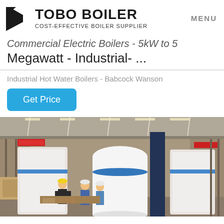TOBO BOILER — COST-EFFECTIVE BOILER SUPPLIER | MENU
Commercial Electric Boilers - 5kW to 5 Megawatt - Industrial- ...
Industrial Hot Water Boilers - Babcock Wanson
Get Price
[Figure (photo): Factory floor showing workers in hard hats standing next to large industrial boilers wrapped in white protective covering inside a manufacturing facility with overhead cranes.]